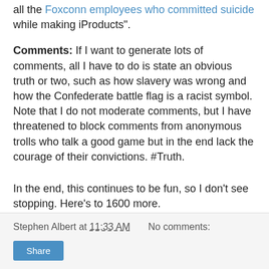all the Foxconn employees who committed suicide while making iProducts".
Comments:  If I want to generate lots of comments, all I have to do is state an obvious truth or two, such as how slavery was wrong and how the Confederate battle flag is a racist symbol.  Note that I do not moderate comments, but I have threatened to  block comments from anonymous trolls who talk a good game but in the end lack the courage of their convictions.  #Truth.
In the end, this continues to be fun, so I don't see stopping.  Here's to 1600 more.
Stephen Albert at 11:33 AM   No comments:   Share